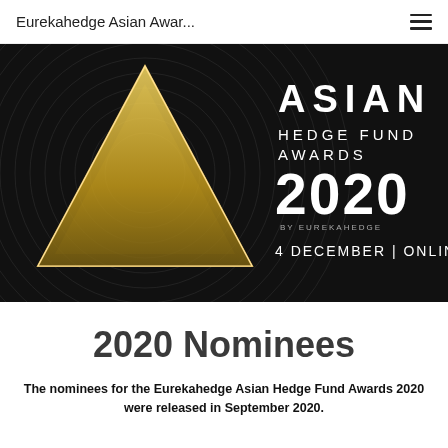Eurekahedge Asian Awar...
[Figure (illustration): Asian Hedge Fund Awards 2020 by Eurekahedge banner. Dark background with decorative circular/radial lines, gold triangle logo on the left, white text reading ASIAN HEDGE FUND AWARDS 2020 BY EUREKAHEDGE 4 DECEMBER | ONLINE on the right.]
2020 Nominees
The nominees for the Eurekahedge Asian Hedge Fund Awards 2020 were released in September 2020.